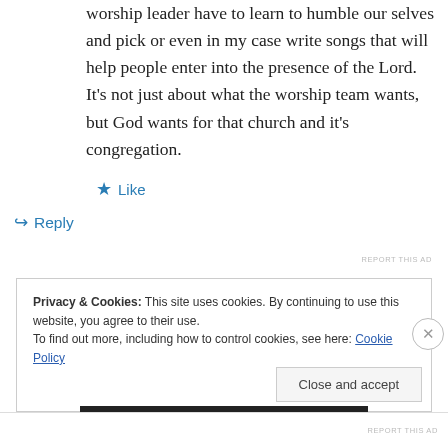worship leader have to learn to humble our selves and pick or even in my case write songs that will help people enter into the presence of the Lord. It's not just about what the worship team wants, but God wants for that church and it's congregation.
Like
Reply
REPORT THIS AD
Privacy & Cookies: This site uses cookies. By continuing to use this website, you agree to their use.
To find out more, including how to control cookies, see here: Cookie Policy
Close and accept